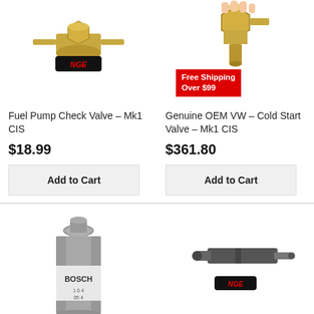[Figure (photo): Fuel pump check valve part with NGE logo]
[Figure (photo): Genuine OEM VW Cold Start Valve with Free Shipping badge]
Fuel Pump Check Valve – Mk1 CIS
$18.99
Add to Cart
Genuine OEM VW – Cold Start Valve – Mk1 CIS
$361.80
Add to Cart
[Figure (photo): Bosch fuel filter canister]
[Figure (photo): Fuel injector or nozzle part with NGE logo]